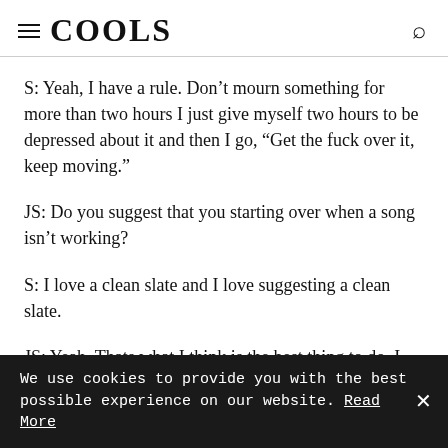COOLS
S: Yeah, I have a rule. Don't mourn something for more than two hours I just give myself two hours to be depressed about it and then I go, "Get the fuck over it, keep moving."
JS: Do you suggest that you starting over when a song isn't working?
S: I love a clean slate and I love suggesting a clean slate.
JS: Yeah. Thats what I think is the best thing to do. I also, for my two hour rule, If you feel like th-
We use cookies to provide you with the best possible experience on our website. Read More